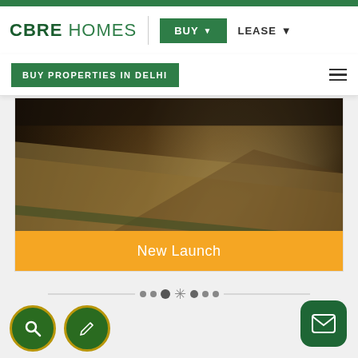CBRE HOMES | BUY ▼  LEASE ▼
BUY PROPERTIES IN DELHI
[Figure (photo): Interior photo of a luxury property showing dark wood furniture, beige/tan fabric surfaces with diagonal geometric lines, warm amber tones — a CBRE Homes listing image.]
New Launch